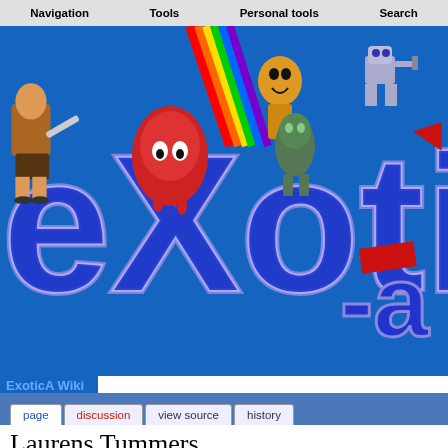Navigation    Tools    Personal tools    Search
[Figure (illustration): ExoticA Wiki banner with colorful eXotica logo on blue background, featuring pixel art game characters]
ExoticA Wiki
page   discussion   view source   history
Laurens Tummers
(Redirected from Lotus)
Music in the UnExoticA collection
Games
[Figure (illustration): Partial image of a figure with black and red coloring — likely a game character or avatar — in a sidebar box labeled Laurens T]